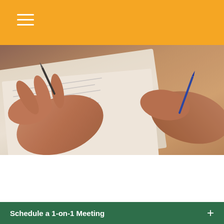Navigation bar with hamburger menu
[Figure (photo): Close-up photo of hands holding a pen and reviewing/signing documents on a clipboard or table]
ESTATE
READ TIME: 3 MIN
A Living Trust Primer
A living trust is a popular consideration in many estate strategy conversations, but its appropriateness will depend
Schedule a 1-on-1 Meeting